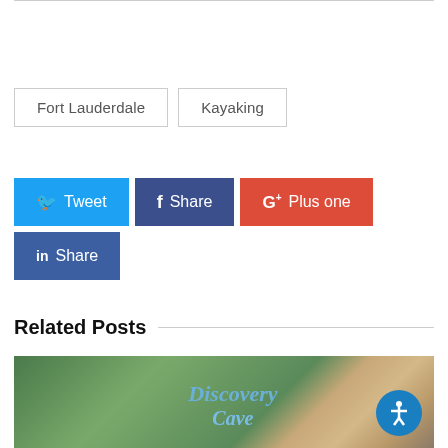Fort Lauderdale
Kayaking
Tweet
Share
Plus one
Pin It
Share
Related Posts
[Figure (photo): Discovery Cove entrance sign with tropical greenery in background]